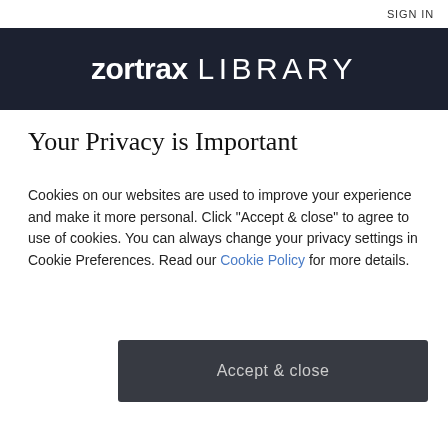SIGN IN
[Figure (logo): Zortrax Library logo — dark navy bar with 'zortrax' in bold white lowercase and 'LIBRARY' in thin white uppercase letters]
Your Privacy is Important
Cookies on our websites are used to improve your experience and make it more personal. Click "Accept & close" to agree to use of cookies. You can always change your privacy settings in Cookie Preferences. Read our Cookie Policy for more details.
Accept & close